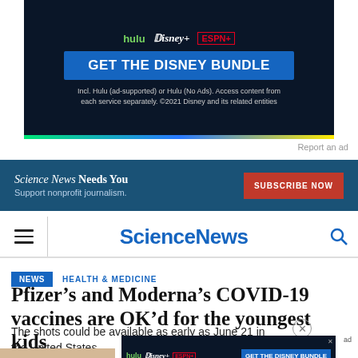[Figure (other): Disney Bundle advertisement banner with Hulu, Disney+, ESPN+ logos, blue 'GET THE DISNEY BUNDLE' button, fine print about included services, and rainbow stripe at bottom]
Report an ad
[Figure (other): Science News subscription banner: 'Science News Needs You — Support nonprofit journalism.' with orange SUBSCRIBE NOW button on dark blue background]
ScienceNews
NEWS   HEALTH & MEDICINE
Pfizer's and Moderna's COVID-19 vaccines are OK'd for the youngest kids
The shots could be available as early as June 21 in the United States
[Figure (other): Disney Bundle advertisement overlay at bottom of page]